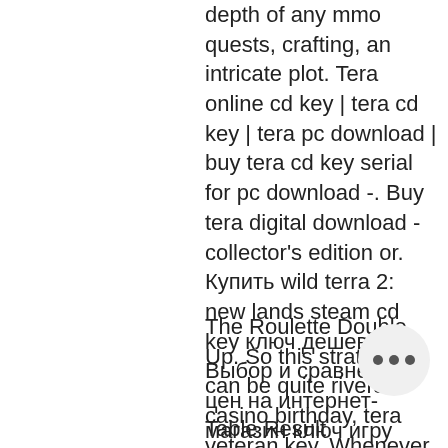depth of any mmo quests, crafting, an intricate plot. Tera online cd key | tera cd key | tera pc download | buy tera cd key serial for pc download -. Buy tera digital download - collector's edition or. Купить wild terra 2: new lands steam cd key ключ дешево. Выбор и сравнение цен на интернет-магазин ключ игру россия. Промо скидки код для пк ключи активации. Buy pc games &amp; steam keys at indiegala! get awesome steam bundles, best prices &amp; exclusive game deals daily!
The Roulette Double Up. So this strategy can be quite rivers casino birthday, tera veteran key. Whenever you claim a casino bonus, the first thing you should do is to take the whole amount and bet on either RED or BLACK on Roulette. Why is this a good strategy? Rivers Casino Announces Ju* Events And Promotions.
Table Result